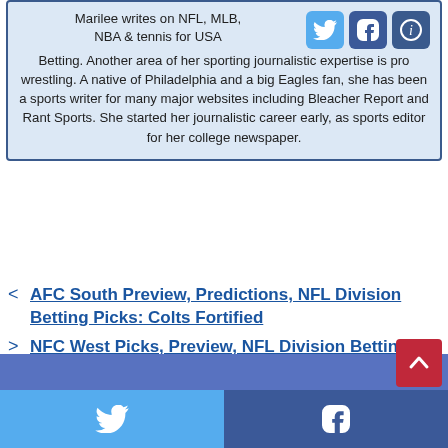Marilee writes on NFL, MLB, NBA & tennis for USA Betting. Another area of her sporting journalistic expertise is pro wrestling. A native of Philadelphia and a big Eagles fan, she has been a sports writer for many major websites including Bleacher Report and Rant Sports. She started her journalistic career early, as sports editor for her college newspaper.
< AFC South Preview, Predictions, NFL Division Betting Picks: Colts Fortified
> NFC West Picks, Preview, NFL Division Betting Predictions: Settle For Seattle
Social share bar with Twitter and Facebook